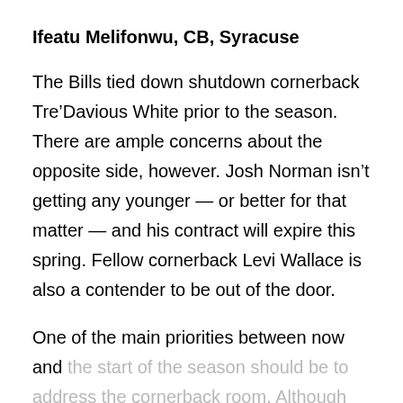Ifeatu Melifonwu, CB, Syracuse
The Bills tied down shutdown cornerback Tre’Davious White prior to the season. There are ample concerns about the opposite side, however. Josh Norman isn’t getting any younger — or better for that matter — and his contract will expire this spring. Fellow cornerback Levi Wallace is also a contender to be out of the door.
One of the main priorities between now and the start of the season should be to address the cornerback room. Although they may